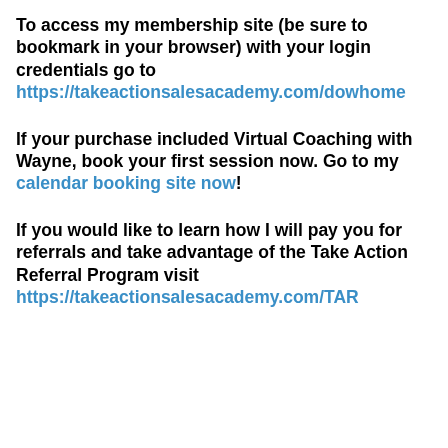To access my membership site (be sure to bookmark in your browser) with your login credentials go to https://takeactionsalesacademy.com/dow... home
If your purchase included Virtual Coaching with Wayne, book your first session now. Go to my calendar booking site now!
If you would like to learn how I will pay you for referrals and take advantage of the Take Action Referral Program visit https://takeactionsalesacademy.com/TAR...